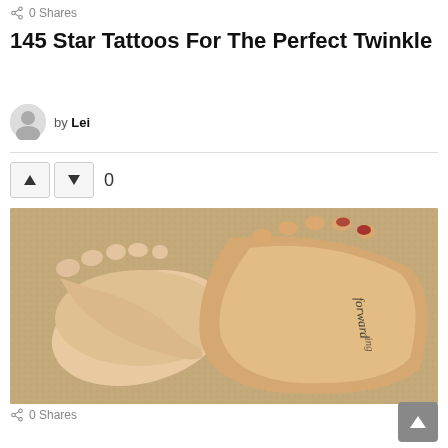0 Shares
145 Star Tattoos For The Perfect Twinkle
by Lei
[Figure (photo): Two feet soles facing up on a carpet background with cursive script tattoo text on one foot, toenails painted red on one foot]
0 Shares